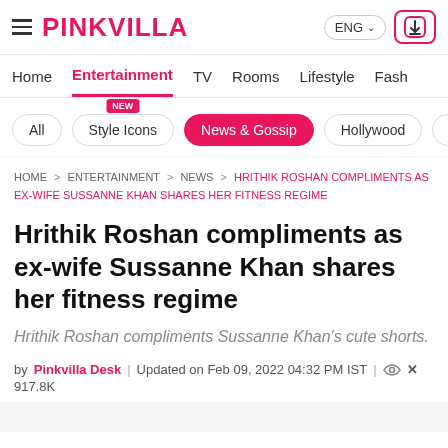PINKVILLA | ENG
Home | Entertainment | TV | Rooms | Lifestyle | Fash
All | Style Icons NEW | News & Gossip | Hollywood | So
HOME > ENTERTAINMENT > NEWS > HRITHIK ROSHAN COMPLIMENTS AS EX-WIFE SUSSANNE KHAN SHARES HER FITNESS REGIME
Hrithik Roshan compliments as ex-wife Sussanne Khan shares her fitness regime
Hrithik Roshan compliments Sussanne Khan's cute shorts.
by Pinkvilla Desk | Updated on Feb 09, 2022 04:32 PM IST | 917.8K